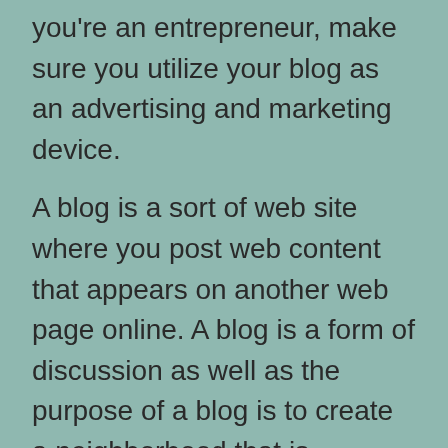you're an entrepreneur, make sure you utilize your blog as an advertising and marketing device.
A blog is a sort of web site where you post web content that appears on another web page online. A blog is a form of discussion as well as the purpose of a blog is to create a neighborhood that is essential to you. Because of this, a blog is a wonderful method to advertise a brand. It can be an effective device for promoting your business, and also it can help you expand your audience. On top of that, a well-designed blog helps in SEO of local...